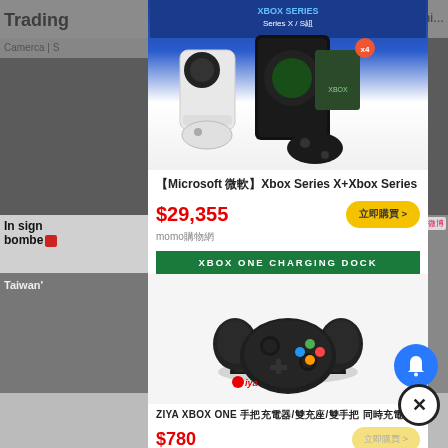[Figure (screenshot): Background webpage with news articles and gray overlay, partially visible behind modal]
[Figure (photo): Xbox Series X and Xbox Series S consoles product photo with blue banner]
【Microsoft 微軟】Xbox Series X+Xbox Series
$29,355
momo購物網
[Figure (photo): XBOX ONE CHARGING DOCK green banner and product image of Ziya charging dock with two controllers]
ZIYA XBOX ONE 手把充電器/雙充座/雙手把 同時充電2把
$780